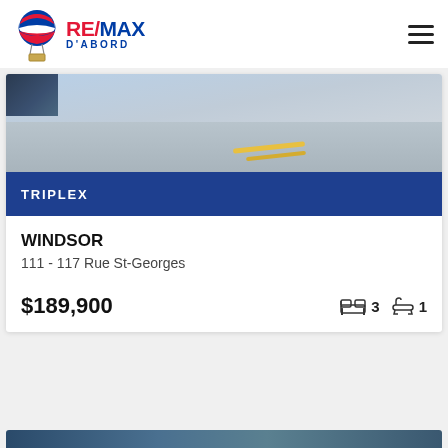[Figure (logo): RE/MAX D'ABORD logo with hot air balloon icon]
[Figure (photo): Street photo showing road with yellow lines, partial building in corner]
TRIPLEX
WINDSOR
111 - 117 Rue St-Georges
$189,900
3 bedrooms, 1 bathroom